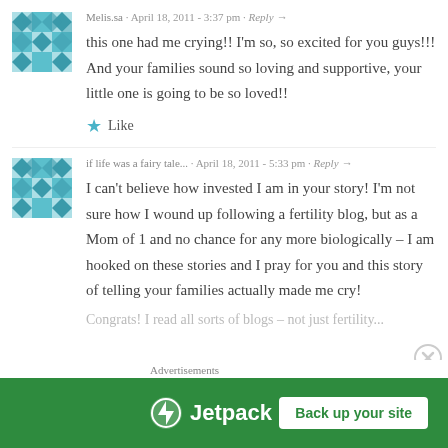Melis.sa · April 18, 2011 - 3:37 pm · Reply →
this one had me crying!! I'm so, so excited for you guys!!! And your families sound so loving and supportive, your little one is going to be so loved!!
★ Like
if life was a fairy tale... · April 18, 2011 - 5:33 pm · Reply →
I can't believe how invested I am in your story! I'm not sure how I wound up following a fertility blog, but as a Mom of 1 and no chance for any more biologically – I am hooked on these stories and I pray for you and this story of telling your families actually made me cry! Congrats! I read all sorts of blogs – not just fertility...
Advertisements
[Figure (infographic): Jetpack advertisement banner with green background, Jetpack logo on left and 'Back up your site' white button on right]